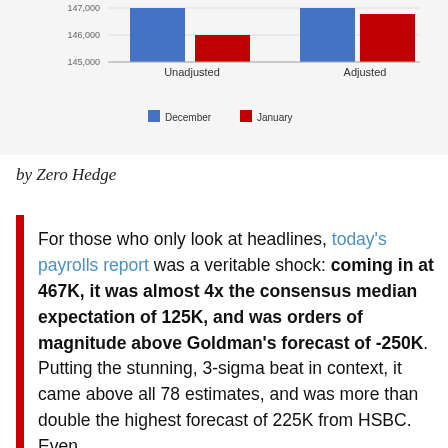[Figure (grouped-bar-chart): ]
by Zero Hedge
For those who only look at headlines, today's payrolls report was a veritable shock: coming in at 467K, it was almost 4x the consensus median expectation of 125K, and was orders of magnitude above Goldman's forecast of -250K. Putting the stunning, 3-sigma beat in context, it came above all 78 estimates, and was more than double the highest forecast of 225K from HSBC. Even